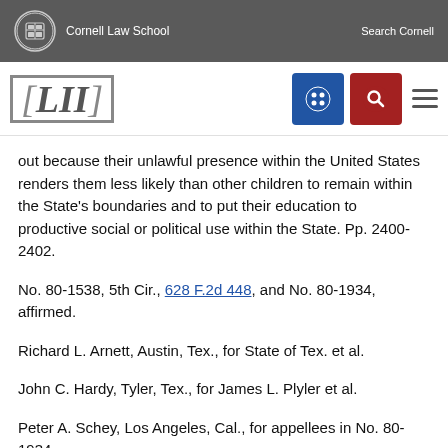Cornell Law School | Search Cornell
[Figure (logo): LII Legal Information Institute logo with navigation buttons (grid icon in blue, search icon in red, hamburger menu)]
out because their unlawful presence within the United States renders them less likely than other children to remain within the State's boundaries and to put their education to productive social or political use within the State. Pp. 2400-2402.
No. 80-1538, 5th Cir., 628 F.2d 448, and No. 80-1934, affirmed.
Richard L. Arnett, Austin, Tex., for State of Tex. et al.
John C. Hardy, Tyler, Tex., for James L. Plyler et al.
Peter A. Schey, Los Angeles, Cal., for appellees in No. 80-1934.
Peter D. Roos, San Francisco, Cal., for appellees